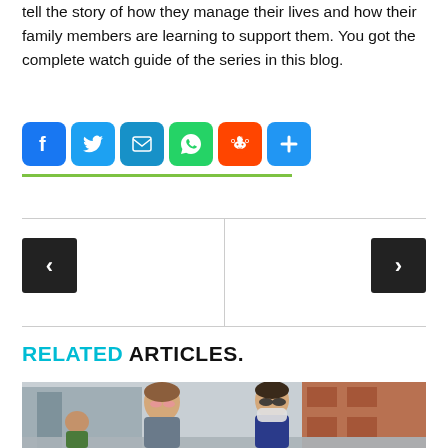tell the story of how they manage their lives and how their family members are learning to support them. You got the complete watch guide of the series in this blog.
[Figure (infographic): Social share buttons row: Facebook (blue), Twitter (blue), Email (blue), WhatsApp (green), Reddit (orange-red), More/Plus (blue), with a green underline beneath]
[Figure (infographic): Navigation previous/next article area with left arrow button and right arrow button separated by a divider, bordered top and bottom]
RELATED ARTICLES.
[Figure (photo): Photo of two people walking outdoors, one wearing pink sunglasses and one wearing a face mask and sunglasses, with a brick building in the background]